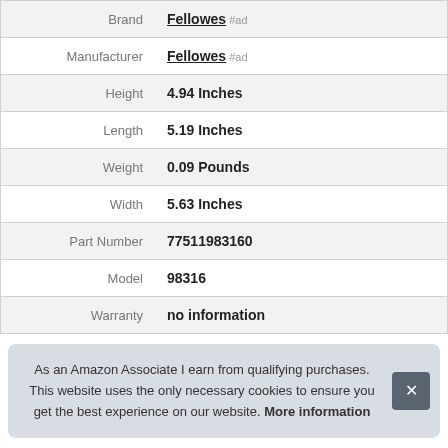| Attribute | Value |
| --- | --- |
| Brand | Fellowes #ad |
| Manufacturer | Fellowes #ad |
| Height | 4.94 Inches |
| Length | 5.19 Inches |
| Weight | 0.09 Pounds |
| Width | 5.63 Inches |
| Part Number | 77511983160 |
| Model | 98316 |
| Warranty | no information |
As an Amazon Associate I earn from qualifying purchases. This website uses the only necessary cookies to ensure you get the best experience on our website. More information